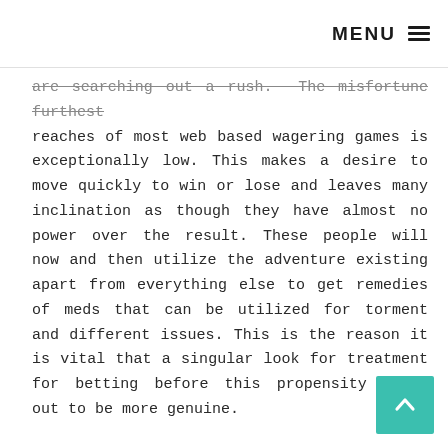MENU ≡
are searching out a rush. The misfortune furthest reaches of most web based wagering games is exceptionally low. This makes a desire to move quickly to win or lose and leaves many inclination as though they have almost no power over the result. These people will now and then utilize the adventure existing apart from everything else to get remedies of meds that can be utilized for torment and different issues. This is the reason it is vital that a singular look for treatment for betting before this propensity turns out to be more genuine.